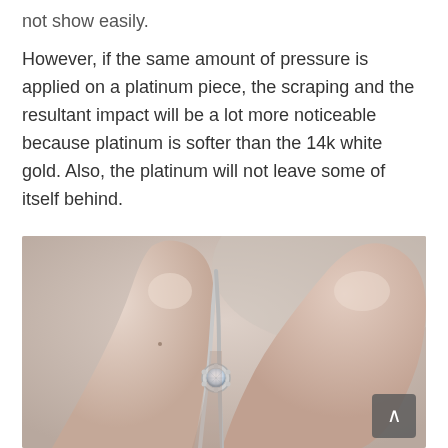not show easily.
However, if the same amount of pressure is applied on a platinum piece, the scraping and the resultant impact will be a lot more noticeable because platinum is softer than the 14k white gold. Also, the platinum will not leave some of itself behind.
[Figure (photo): Close-up photo of a hand holding a platinum solitaire diamond engagement ring between two fingers, with a white/grey background.]